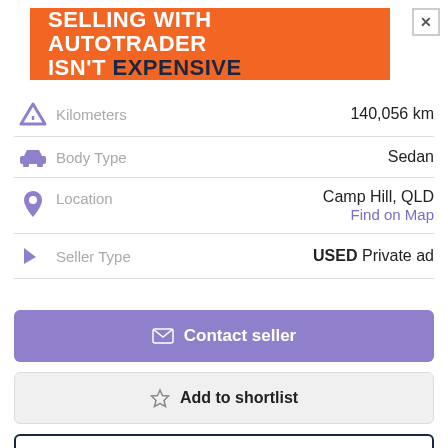[Figure (other): Orange Autotrader advertisement banner: 'SELLING WITH AUTOTRADER ISN'T EXPENSIVE']
| Icon | Label | Value |
| --- | --- | --- |
| Kilometers icon | Kilometers | 140,056 km |
| Car icon | Body Type | Sedan |
| Location pin icon | Location | Camp Hill, QLD / Find on Map |
| Flag icon | Seller Type | USED Private ad |
Contact seller
Add to shortlist
Insurance Quote